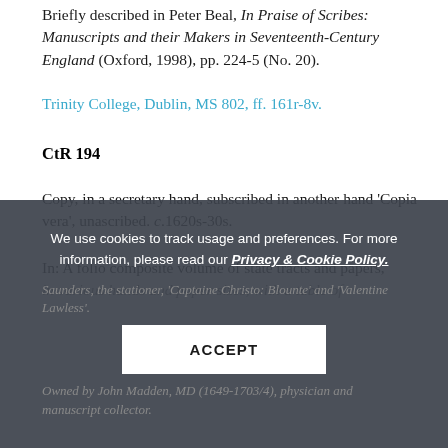Briefly described in Peter Beal, In Praise of Scribes: Manuscripts and their Makers in Seventeenth-Century England (Oxford, 1998), pp. 224-5 (No. 20).
Trinity College, Dublin, MS 802, ff. 161r-8v.
CtR 194
Copy, in a secretary hand, subscribed in another hand 'Copia vera', unascribed. c.1620s-30s.
In: A folio composite volume of state tracts and papers, in various hands and paper sizes, with a table of contents. Saunders, the stationer, 'Captain Christo: Blounte' and 'Valentine Lawless'.
Owned by John Madden, MD (1649-1703/4), physician and manuscript collector.